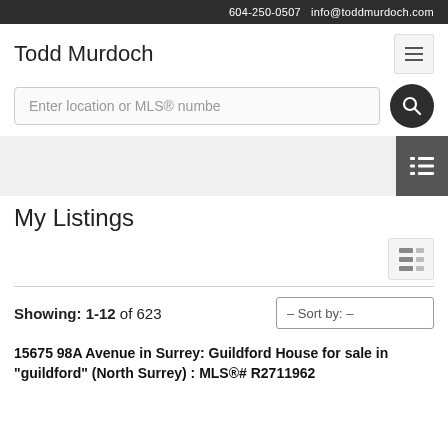604-250-0507   info@toddmurdoch.com
Todd Murdoch
Enter location or MLS® numbe
My Listings
Showing: 1-12 of 623
15675 98A Avenue in Surrey: Guildford House for sale in "guildford" (North Surrey) : MLS®# R2711962